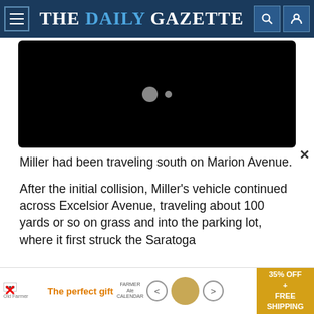THE DAILY GAZETTE
[Figure (screenshot): Black video player area with two gray dots (play indicator)]
Miller had been traveling south on Marion Avenue.
After the initial collision, Miller's vehicle continued across Excelsior Avenue, traveling about 100 yards or so on grass and into the parking lot, where it first struck the Saratoga
[Figure (other): Advertisement banner: 'The perfect gift' with food product image and '35% OFF + FREE SHIPPING' promo]